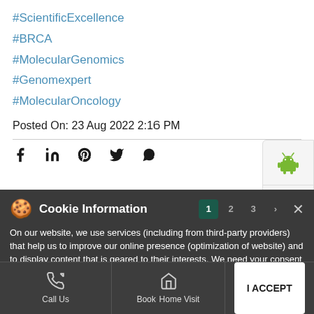#ScientificExcellence
#BRCA
#MolecularGenomics
#Genomexpert
#MolecularOncology
Posted On: 23 Aug 2022 2:16 PM
[Figure (infographic): Social share icons: Facebook, LinkedIn, Pinterest, Twitter, WhatsApp]
[Figure (infographic): Android and Apple app store buttons on sidebar]
Cookie Information
On our website, we use services (including from third-party providers) that help us to improve our online presence (optimization of website) and to display content that is geared to their interests. We need your consent before being able to use these services.
Nearby Locality
I ACCEPT
Call Us  Book Home Visit  Directions